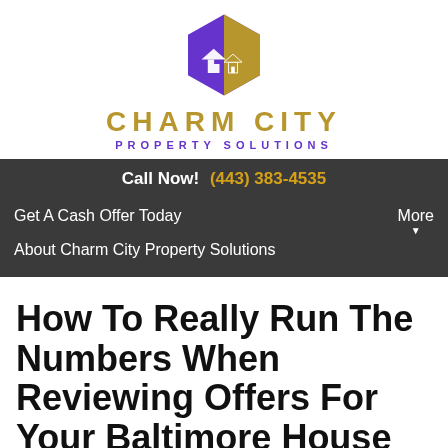[Figure (logo): Charm City Property Solutions logo: purple and gold hexagon with house icon]
CHARM CITY PROPERTY SOLUTIONS
Call Now! (443) 383-4535
Get A Cash Offer Today
About Charm City Property Solutions
More
How To Really Run The Numbers When Reviewing Offers For Your Baltimore House